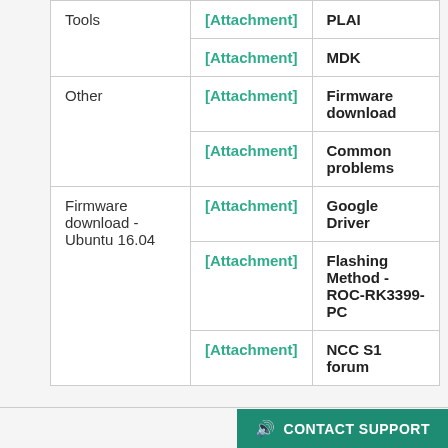| Category | Link | Name |
| --- | --- | --- |
| Tools | [Attachment] | PLAI |
|  | [Attachment] | MDK |
| Other | [Attachment] | Firmware download |
|  | [Attachment] | Common problems |
| Firmware download - Ubuntu 16.04 | [Attachment] | Google Driver |
|  | [Attachment] | Flashing Method - ROC-RK3399-PC |
|  | [Attachment] | NCC S1 forum |
CONTACT SUPPORT